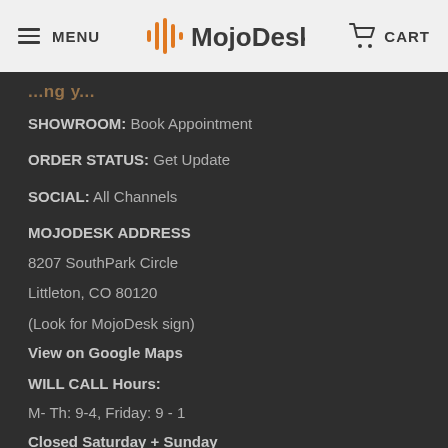MENU | MojoDesk | CART
SHOWROOM: Book Appointment
ORDER STATUS: Get Update
SOCIAL: All Channels
MOJODESK ADDRESS
8207 SouthPark Circle
Littleton, CO 80120
(Look for MojoDesk sign)
View on Google Maps
WILL CALL Hours:
M- Th: 9-4, Friday: 9 - 1
Closed Saturday + Sunday